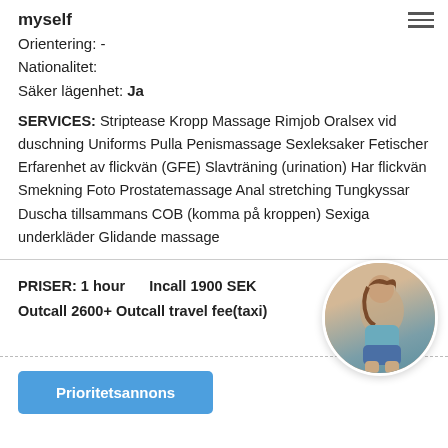myself
Orientering: -
Nationalitet:
Säker lägenhet: Ja
SERVICES: Striptease Kropp Massage Rimjob Oralsex vid duschning Uniforms Pulla Penismassage Sexleksaker Fetischer Erfarenhet av flickvän (GFE) Slavträning (urination) Har flickvän Smekning Foto Prostatemassage Anal stretching Tungkyssar Duscha tillsammans COB (komma på kroppen) Sexiga underkläder Glidande massage
PRISER: 1 hour   Incall 1900 SEK   Outcall 2600+ Outcall travel fee(taxi)
[Figure (photo): Circular cropped photo of a woman posing, wearing a light blue top and denim shorts, viewed from behind/side angle]
Prioritetsannons